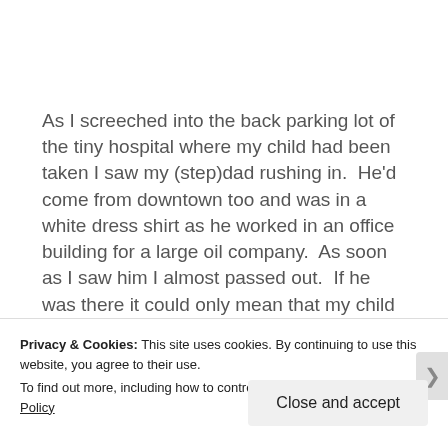As I screeched into the back parking lot of the tiny hospital where my child had been taken I saw my (step)dad rushing in.  He'd come from downtown too and was in a white dress shirt as he worked in an office building for a large oil company.  As soon as I saw him I almost passed out.  If he was there it could only mean that my child was indeed dead, I
Privacy & Cookies: This site uses cookies. By continuing to use this website, you agree to their use.
To find out more, including how to control cookies, see here: Cookie Policy
Close and accept